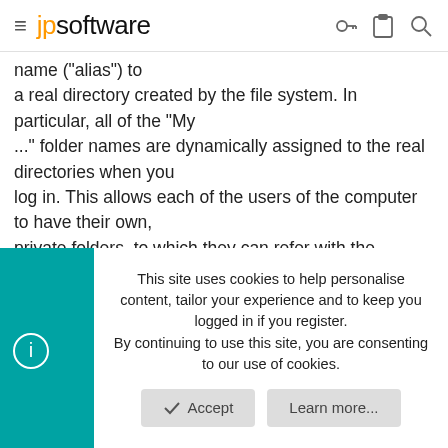≡ jpsoftware
name ("alias") to a real directory created by the file system. In particular, all of the "My ..." folder names are dynamically assigned to the real directories when you log in. This allows each of the users of the computer to have their own, private folders, to which they can refer with the common phrase. This is like you and I both saying "I am at home", yet meaning two different locations. But don't despair - look at the variable function @SHFOLDER - it
This site uses cookies to help personalise content, tailor your experience and to keep you logged in if you register.
By continuing to use this site, you are consenting to our use of cookies.